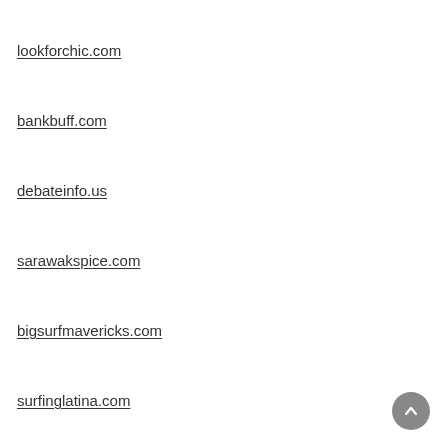lookforchic.com
bankbuff.com
debateinfo.us
sarawakspice.com
bigsurfmavericks.com
surfinglatina.com